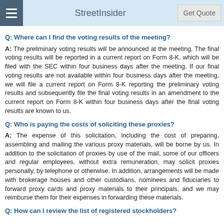StreetInsider
Q: Where can I find the voting results of the meeting?
A: The preliminary voting results will be announced at the meeting. The final voting results will be reported in a current report on Form 8-K, which will be filed with the SEC within four business days after the meeting. If our final voting results are not available within four business days after the meeting, we will file a current report on Form 8-K reporting the preliminary voting results and subsequently file the final voting results in an amendment to the current report on Form 8-K within four business days after the final voting results are known to us.
Q: Who is paying the costs of soliciting these proxies?
A: The expense of this solicitation, including the cost of preparing, assembling and mailing the various proxy materials, will be borne by us. In addition to the solicitation of proxies by use of the mail, some of our officers and regular employees, without extra remuneration, may solicit proxies personally, by telephone or otherwise. In addition, arrangements will be made with brokerage houses and other custodians, nominees and fiduciaries to forward proxy cards and proxy materials to their principals, and we may reimburse them for their expenses in forwarding these materials.
Q: How can I review the list of registered stockholders?